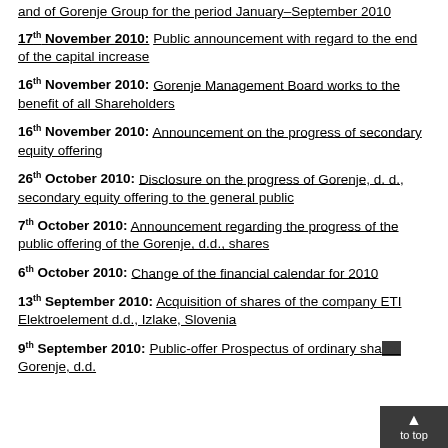and of Gorenje Group for the period January–September 2010
17th November 2010: Public announcement with regard to the end of the capital increase
16th November 2010: Gorenje Management Board works to the benefit of all Shareholders
16th November 2010: Announcement on the progress of secondary equity offering
26th October 2010: Disclosure on the progress of Gorenje, d. d., secondary equity offering to the general public
7th October 2010: Announcement regarding the progress of the public offering of the Gorenje, d.d., shares
6th October 2010: Change of the financial calendar for 2010
13th September 2010: Acquisition of shares of the company ETI Elektroelement d.d., Izlake, Slovenia
9th September 2010: Public-offer Prospectus of ordinary shares Gorenje, d.d.